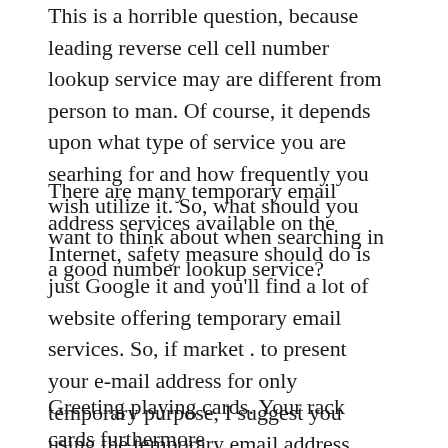This is a horrible question, because leading reverse cell cell number lookup service may are different from person to man. Of course, it depends upon what type of service you are searhing for and how frequently you wish utilize it. So, what should you want to think about when searching in a good number lookup service?
There are many temporary email address services available on the Internet, safety measure should do is just Google it and you'll find a lot of website offering temporary email services. So, if market . to present your e-mail address for only temporary purpose, I suggest you using the temporary email address service.
Greeting playing cards. Your rack cards furthermore